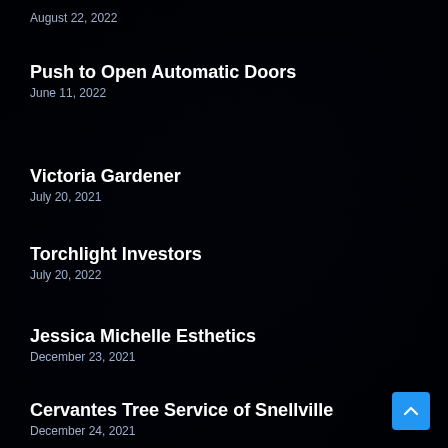August 22, 2022
Push to Open Automatic Doors
June 11, 2022
Victoria Gardener
July 20, 2021
Torchlight Investors
July 20, 2022
Jessica Michelle Esthetics
December 23, 2021
Cervantes Tree Service of Snellville
December 24, 2021